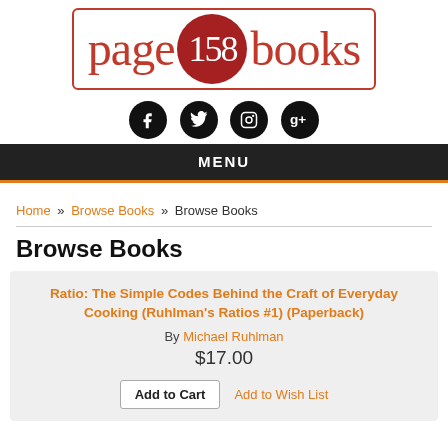[Figure (logo): Page 158 Books logo — red serif text 'page' and 'books' flanking a dark red circle with '158' in white, all inside a red-bordered rounded rectangle]
[Figure (illustration): Four black circular social media icons: Facebook (f), Twitter (bird), Instagram (camera), Google+ (g+)]
MENU
Home » Browse Books » Browse Books
Browse Books
Ratio: The Simple Codes Behind the Craft of Everyday Cooking (Ruhlman's Ratios #1) (Paperback)
By Michael Ruhlman
$17.00
Add to Cart   Add to Wish List